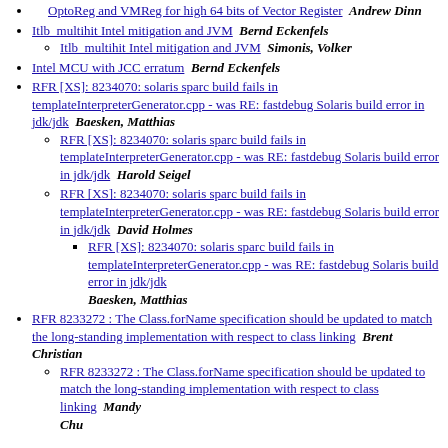OptoReg and VMReg for high 64 bits of Vector Register  Andrew Dinn
Itlb_multihit Intel mitigation and JVM  Bernd Eckenfels
Itlb_multihit Intel mitigation and JVM  Simonis, Volker
Intel MCU with JCC erratum  Bernd Eckenfels
RFR [XS]: 8234070: solaris sparc build fails in templateInterpreterGenerator.cpp - was RE: fastdebug Solaris build error in jdk/jdk  Baesken, Matthias
RFR [XS]: 8234070: solaris sparc build fails in templateInterpreterGenerator.cpp - was RE: fastdebug Solaris build error in jdk/jdk  Harold Seigel
RFR [XS]: 8234070: solaris sparc build fails in templateInterpreterGenerator.cpp - was RE: fastdebug Solaris build error in jdk/jdk  David Holmes
RFR [XS]: 8234070: solaris sparc build fails in templateInterpreterGenerator.cpp - was RE: fastdebug Solaris build error in jdk/jdk  Baesken, Matthias
RFR 8233272 : The Class.forName specification should be updated to match the long-standing implementation with respect to class linking  Brent Christian
RFR 8233272 : The Class.forName specification should be updated to match the long-standing implementation with respect to class linking  Mandy Chung